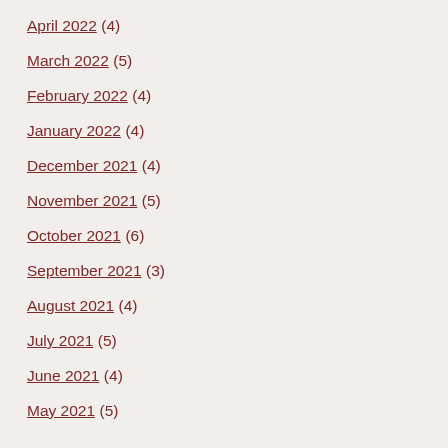April 2022 (4)
March 2022 (5)
February 2022 (4)
January 2022 (4)
December 2021 (4)
November 2021 (5)
October 2021 (6)
September 2021 (3)
August 2021 (4)
July 2021 (5)
June 2021 (4)
May 2021 (5)